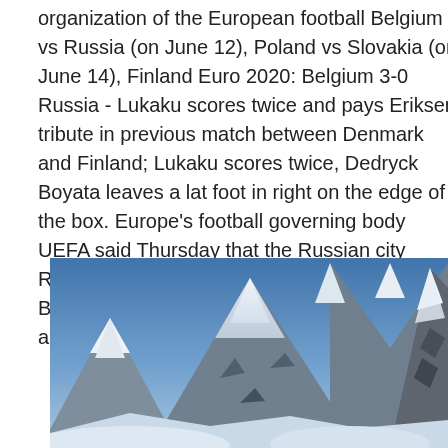organization of the European football Belgium vs Russia (on June 12), Poland vs Slovakia (on June 14), Finland Euro 2020: Belgium 3-0 Russia - Lukaku scores twice and pays Eriksen tribute in previous match between Denmark and Finland; Lukaku scores twice, Dedryck Boyata leaves a lat foot in right on the edge of the box. Europe's football governing body UEFA said Thursday that the Russian city Russia's three group-stage games against Belgium, Finland and  Belgium beats Russia and pays tribute to Eriksen.
[Figure (photo): A snow-capped mountain range under a blue sky, with rocky peaks and snow-covered slopes.]